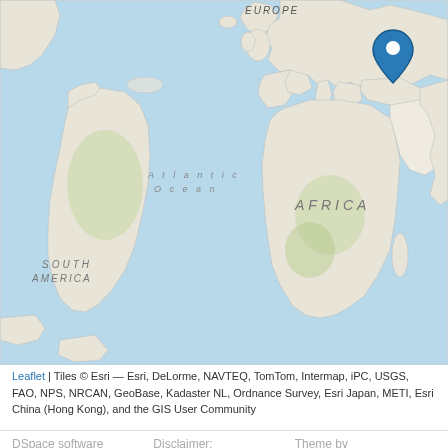[Figure (map): World map (Esri/Leaflet tile map) centered on Africa and Europe, showing South America on the left. A blue location pin marker is placed over Turkey/Middle East region (approximately 37°N, 35°E). The map shows continent outlines, ocean areas in light blue, land in light beige/white, with labels: EUROPE (top center), Atlantic Ocean (left), AFRICA (center), SOUTH AMERICA (lower left).]
Leaflet | Tiles © Esri — Esri, DeLorme, NAVTEQ, TomTom, Intermap, iPC, USGS, FAO, NPS, NRCAN, GeoBase, Kadaster NL, Ordnance Survey, Esri Japan, METI, Esri China (Hong Kong), and the GIS User Community
DSpace software   Disclaimer:   Theme by